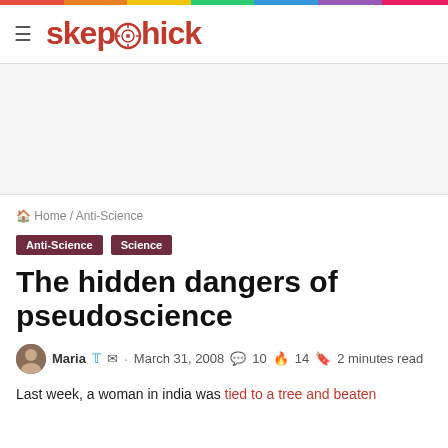skepchick
Home / Anti-Science
Anti-Science  Science
The hidden dangers of pseudoscience
Maria · March 31, 2008  10  14  2 minutes read
Last week, a woman in india was tied to a tree and beaten